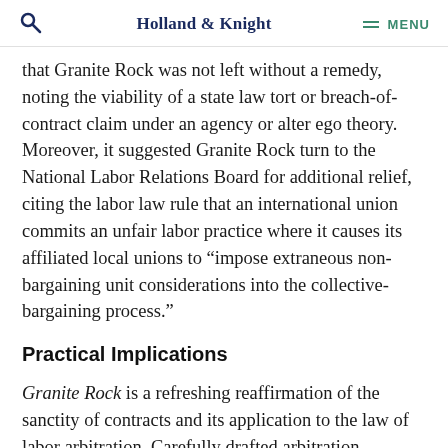Holland & Knight  MENU
that Granite Rock was not left without a remedy, noting the viability of a state law tort or breach-of-contract claim under an agency or alter ego theory. Moreover, it suggested Granite Rock turn to the National Labor Relations Board for additional relief, citing the labor law rule that an international union commits an unfair labor practice where it causes its affiliated local unions to “impose extraneous non-bargaining unit considerations into the collective-bargaining process.”
Practical Implications
Granite Rock is a refreshing reaffirmation of the sanctity of contracts and its application to the law of labor arbitration. Carefully drafted arbitration